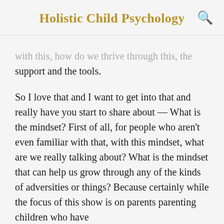Holistic Child Psychology
with this, how do we thrive through this, the support and the tools.
So I love that and I want to get into that and really have you start to share about — What is the mindset? First of all, for people who aren't even familiar with that, with this mindset, what are we really talking about? What is the mindset that can help us grow through any of the kinds of adversities or things? Because certainly while the focus of this show is on parents parenting children who have